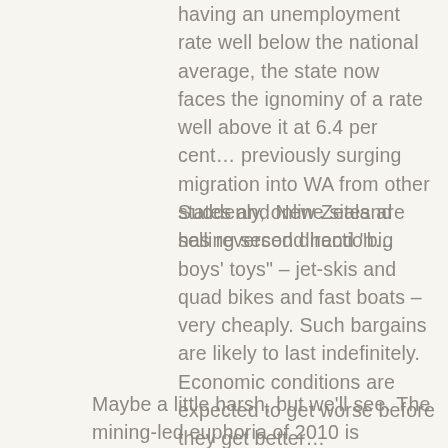having an unemployment rate well below the national average, the state now faces the ignominy of a rate well above it at 6.4 per cent… previously surging migration into WA from other states and New Zealand has reversed direction…
Suddenly, online sites are selling second hand "big boys' toys" – jet-skis and quad bikes and fast boats – very cheaply. Such bargains are likely to last indefinitely. Economic conditions are expected to get worse before they get better…
Maybe a little harsh, but we'll see. The mining-led euphoria of 2010 is certainly long gone.